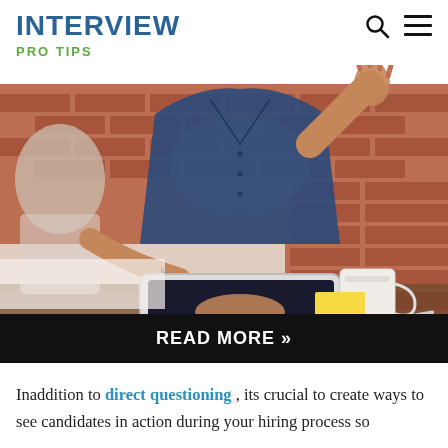INTERVIEW
PRO TIPS
[Figure (photo): Interview scene with a woman in a navy blue shirt gesturing with her hand, sitting across from someone holding a tablet and pen, with a coffee mug and sticky note on the table, brick wall background]
READ MORE »
Inaddition to direct questioning , its crucial to create ways to see candidates in action during your hiring process so